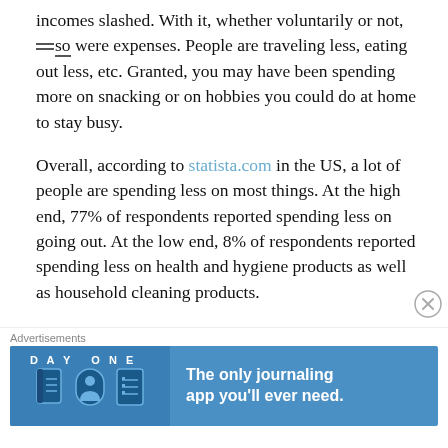incomes slashed. With it, whether voluntarily or not, so were expenses. People are traveling less, eating out less, etc. Granted, you may have been spending more on snacking or on hobbies you could do at home to stay busy.
Overall, according to statista.com in the US, a lot of people are spending less on most things. At the high end, 77% of respondents reported spending less on going out. At the low end, 8% of respondents reported spending less on health and hygiene products as well as household cleaning products.
As life goes back to ‘normal’ or the new normal, keeping expenses low is paramount. There is going to be the temptation to spend more on going out or maybe taking a vacation. Resist the urge to avail
[Figure (illustration): Advertisement banner for Day One journaling app. Dark blue background with DAY ONE text, app icons (journal, person, list), and text 'The only journaling app you'll ever need.']